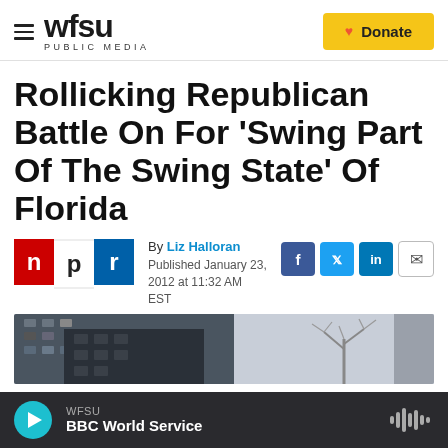WFSU PUBLIC MEDIA — Donate
Rollicking Republican Battle On For 'Swing Part Of The Swing State' Of Florida
By Liz Halloran
Published January 23, 2012 at 11:32 AM EST
[Figure (photo): Street-level photo showing building facades and a bare tree against a grey sky]
WFSU — BBC World Service